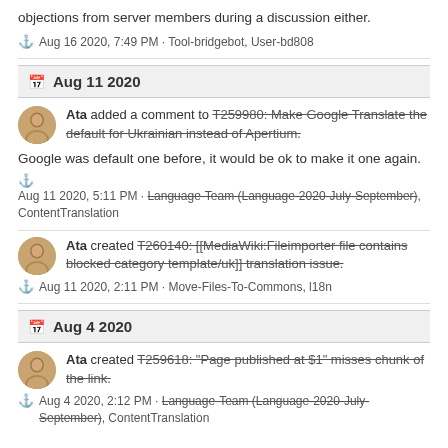objections from server members during a discussion either.
Aug 16 2020, 7:49 PM · Tool-bridgebot, User-bd808
Aug 11 2020
Ata added a comment to T259980: Make Google Translate the default for Ukrainian instead of Apertium.
Google was default one before, it would be ok to make it one again.
Aug 11 2020, 5:11 PM · Language-Team (Language-2020-July-September), ContentTranslation
Ata created T260140: [[MediaWiki:Fileimporter file contains blocked category template/uk]] translation issue.
Aug 11 2020, 2:11 PM · Move-Files-To-Commons, l18n
Aug 4 2020
Ata created T259618: "Page published at $1" misses chunk of the link.
Aug 4 2020, 2:12 PM · Language-Team (Language-2020-July-September), ContentTranslation